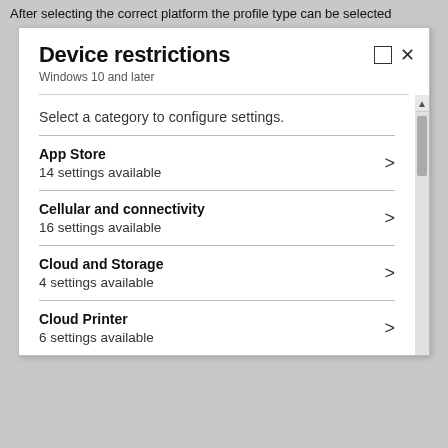After selecting the correct platform the profile type can be selected
[Figure (screenshot): Screenshot of a Windows application dialog titled 'Device restrictions' for Windows 10 and later. The dialog shows a list of configuration categories including App Store (14 settings available), Cellular and connectivity (16 settings available), Cloud and Storage (4 settings available), and Cloud Printer (6 settings available), each with a right-arrow chevron. A scrollbar is visible on the right side.]